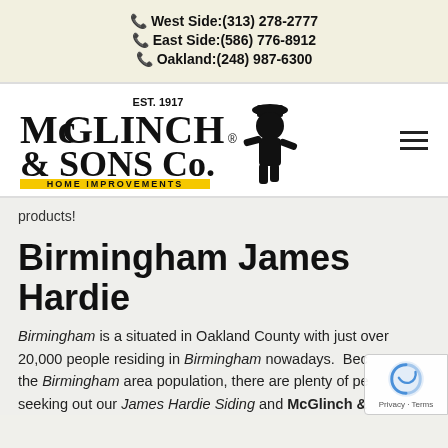West Side:(313) 278-2777
East Side:(586) 776-8912
Oakland:(248) 987-6300
[Figure (logo): McGlinch & Sons Co. Home Improvements logo with EST. 1917 text and silhouette figure, with yellow HOME IMPROVEMENTS banner]
products!
Birmingham James Hardie
Birmingham is a situated in Oakland County with just over 20,000 people residing in Birmingham nowadays. Bec... the Birmingham area population, there are plenty of pe... seeking out our James Hardie Siding and McGlinch & Sons is...